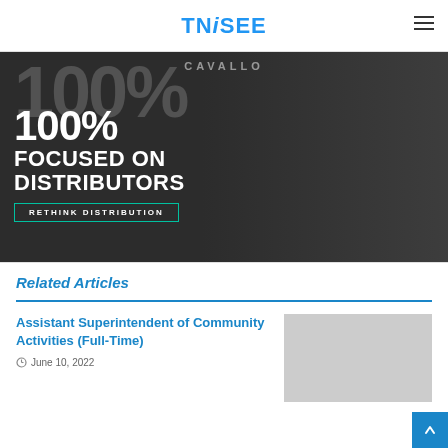TNiSEE
[Figure (photo): Advertisement banner for Cavallo showing a forklift in a warehouse with text '100% FOCUSED ON DISTRIBUTORS' and a 'RETHINK DISTRIBUTION' button]
Related Articles
Assistant Superintendent of Community Activities (Full-Time)
June 10, 2022